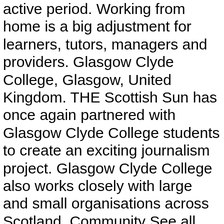active period. Working from home is a big adjustment for learners, tutors, managers and providers. Glasgow Clyde College, Glasgow, United Kingdom. THE Scottish Sun has once again partnered with Glasgow Clyde College students to create an exciting journalism project. Glasgow Clyde College also works closely with large and small organisations across Scotland. Community See all. Find the perfect glasgow clyde college stock photo. Location: Anniesland and Cardonald Campus. Please see our Privacy Notice. HNC Care & Administrative Practice Entrance Test. The world's largest student housing provider. Open now. Lowest price. Microsoft Office 365 has your favorite Office features online and allows you to create sophisticated reports and presentations, collaborate in real time with classmates, and share and edit documents from your phone, PC, or Mac. Glasgow Clyde College is a further and higher education college, located in the Scottish city of Glasgow. Not Now. About See all +44 141 272 9000. Glasgow, UK. 80 videos. No booking fee. ORW - … 3.9.